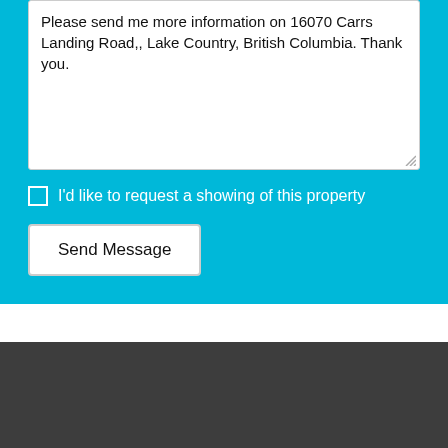Please send me more information on 16070 Carrs Landing Road,, Lake Country, British Columbia. Thank you.
I'd like to request a showing of this property
Send Message
By using our site, you agree to our Terms of Use and Privacy Policy
Dismiss